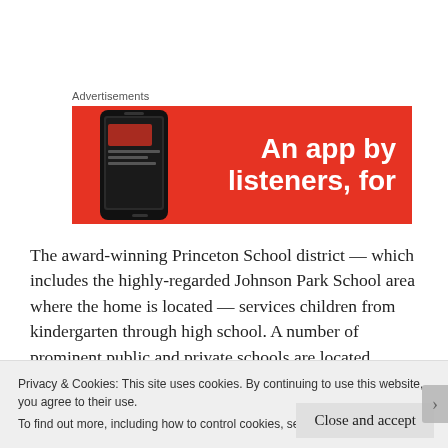Advertisements
[Figure (other): Advertisement banner with red background showing a smartphone and text 'An app by listeners, for']
The award-winning Princeton School district — which includes the highly-regarded Johnson Park School area where the home is located — services children from kindergarten through high school. A number of prominent public and private schools are located
Privacy & Cookies: This site uses cookies. By continuing to use this website, you agree to their use.
To find out more, including how to control cookies, see here: Cookie Policy
Close and accept